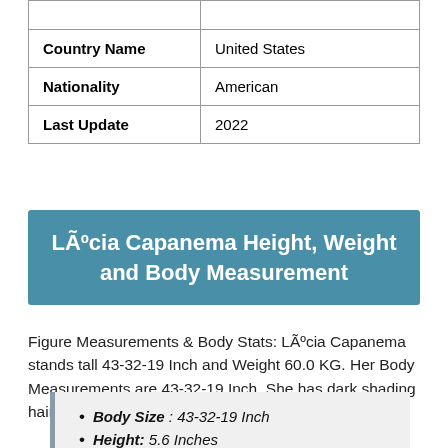|  |  |
| Country Name | United States |
| Nationality | American |
| Last Update | 2022 |
LÃºcia Capanema Height, Weight and Body Measurement
Figure Measurements & Body Stats: LÃºcia Capanema stands tall 43-32-19 Inch and Weight 60.0 KG. Her Body Measurements are 43-32-19 Inch. She has dark shading hair and dark black eyes.
Body Size : 43-32-19 Inch
Height: 5.6 Inches